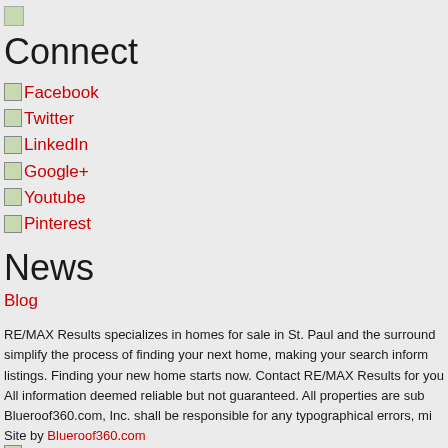[Figure (logo): Small logo image at top]
Connect
Facebook
Twitter
LinkedIn
Google+
Youtube
Pinterest
News
Blog
RE/MAX Results specializes in homes for sale in St. Paul and the surround simplify the process of finding your next home, making your search inform listings. Finding your new home starts now. Contact RE/MAX Results for you All information deemed reliable but not guaranteed. All properties are sub Blueroof360.com, Inc. shall be responsible for any typographical errors, mi
Site by Blueroof360.com
® RE/MAX Results